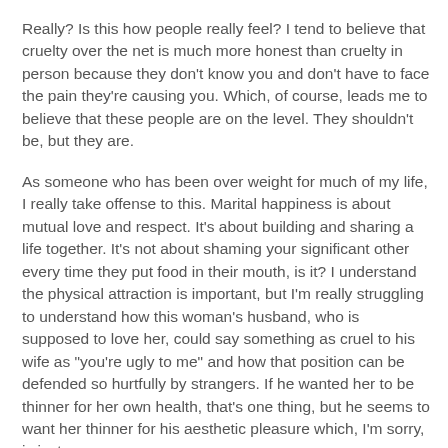Really?  Is this how people really feel?  I tend to believe that cruelty over the net is much more honest than cruelty in person because they don't know you and don't have to face the pain they're causing you.  Which, of course, leads me to believe that these people are on the level.  They shouldn't be, but they are.
As someone who has been over weight for much of my life, I really take offense to this. Marital happiness is about mutual love and respect.  It's about building and sharing a life together.  It's not about shaming your significant other every time they put food in their mouth, is it?  I understand the physical attraction is important, but I'm really struggling to understand how this woman's husband, who is supposed to love her, could say something as cruel to his wife as "you're ugly to me" and how that position can be defended so hurtfully by strangers. If he wanted her to be thinner for her own health, that's one thing, but he seems to want her thinner for his aesthetic pleasure which, I'm sorry, is just wrong.